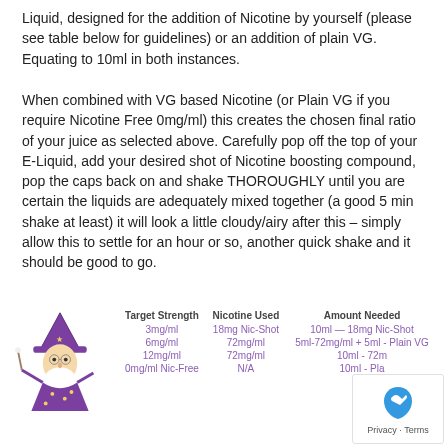Liquid, designed for the addition of Nicotine by yourself (please see table below for guidelines) or an addition of plain VG. Equating to 10ml in both instances.
When combined with VG based Nicotine (or Plain VG if you require Nicotine Free 0mg/ml) this creates the chosen final ratio of your juice as selected above. Carefully pop off the top of your E-Liquid, add your desired shot of Nicotine boosting compound, pop the caps back on and shake THOROUGHLY until you are certain the liquids are adequately mixed together (a good 5 min shake at least) it will look a little cloudy/airy after this – simply allow this to settle for an hour or so, another quick shake and it should be good to go.
| Target Strength | Nicotine Used | Amount Needed |
| --- | --- | --- |
| 3mg/ml | 18mg Nic-Shot | 10ml — 18mg Nic-Shot |
| 6mg/ml | 72mg/ml | 5ml-72mg/ml + 5ml - Plain VG |
| 12mg/ml | 72mg/ml | 10ml - 72m |
| 0mg/ml Nic-Free | N/A | 10ml - Pla |